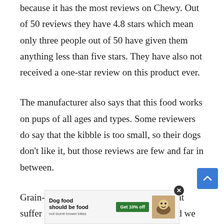because it has the most reviews on Chewy. Out of 50 reviews they have 4.8 stars which mean only three people out of 50 have given them anything less than five stars. They have also not received a one-star review on this product ever.
The manufacturer also says that this food works on pups of all ages and types. Some reviewers do say that the kibble is too small, so their dogs don't like it, but those reviews are few and far in between.
Grain-free diets get suggested for dogs that suffer from allergies or skin problems, and we find that a lot of people who have tested this product have said it immediately cleared up their dog's skin and stopped them from